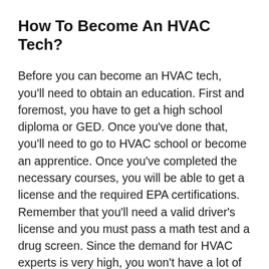How To Become An HVAC Tech?
Before you can become an HVAC tech, you'll need to obtain an education. First and foremost, you have to get a high school diploma or GED. Once you've done that, you'll need to go to HVAC school or become an apprentice. Once you've completed the necessary courses, you will be able to get a license and the required EPA certifications. Remember that you'll need a valid driver's license and you must pass a math test and a drug screen. Since the demand for HVAC experts is very high, you won't have a lot of trouble finding a good job.
By sticking with your career, you will be able to do to get to in the industry and